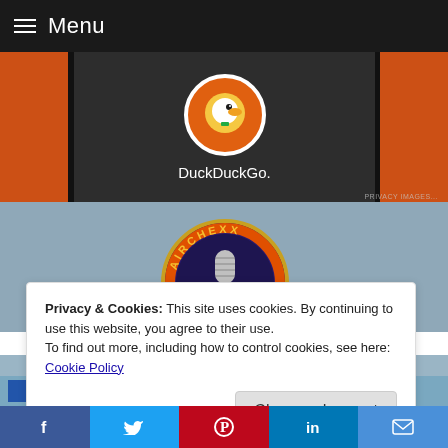Menu
[Figure (logo): DuckDuckGo advertisement banner with duck logo on dark background with orange side panels]
[Figure (logo): Airchexx circular logo - Where Classic Radio Lives]
Privacy & Cookies: This site uses cookies. By continuing to use this website, you agree to their use.
To find out more, including how to control cookies, see here:
Cookie Policy
Close and accept
Format Change: Mellow Rock